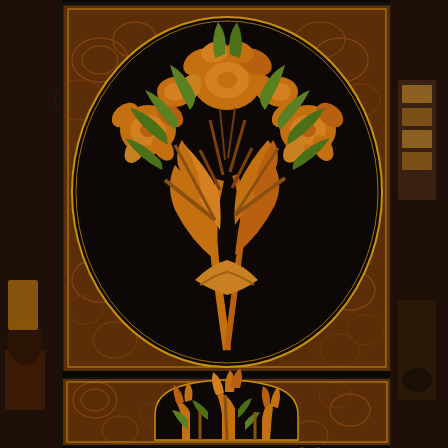[Figure (photo): A photograph of an antique piece of furniture, likely a tall case clock or cabinet, featuring elaborate marquetry (wood inlay) work. The image shows two panels: the upper panel displays an oval medallion with a dark background containing intricate floral marquetry — orange/amber-toned flowers, roses, and green leaves arranged in a bouquet — set against a walnut burr veneer surround with circular grain patterns. The lower panel shows a similar dark arched or gothic-shaped cartouche with floral marquetry depicting tulips, irises, and other flowers in orange tones with green accents, again surrounded by burr walnut veneer. The overall color palette is dark brown, amber/orange, and green. On the left edge, partial views of other antique furniture pieces are visible, and on the right edge, another piece of furniture is partially visible. The style suggests 17th or 18th century Dutch or English furniture craftsmanship.]